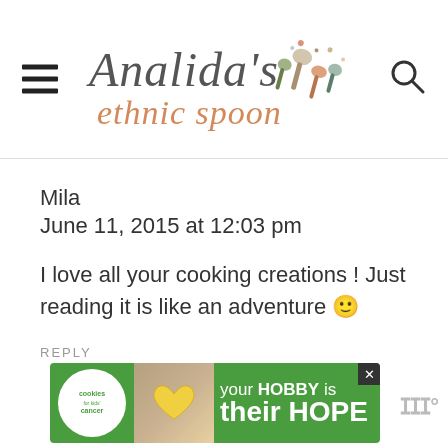Analida's ethnic spoon
Mila
June 11, 2015 at 12:03 pm
I love all your cooking creations ! Just reading it is like an adventure 🙂
REPLY
[Figure (photo): Advertisement banner: Cookies for Kids' Cancer - your HOBBY is their HOPE]